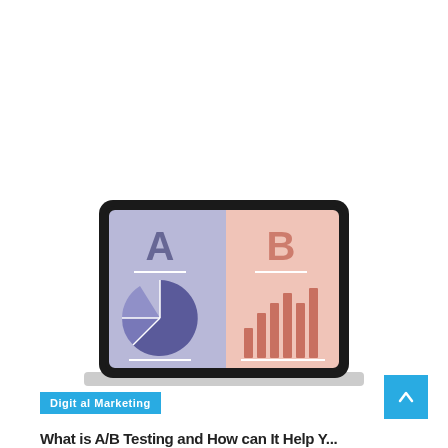[Figure (illustration): A laptop screen showing an A/B testing illustration. The left half has a purple/lavender background with a large letter 'A' and a pie chart below it. The right half has a salmon/pink background with a large letter 'B' and a bar chart below it. The laptop sits on a gray surface.]
Digital Marketing
What is A/B Testing and How can It Help Y...